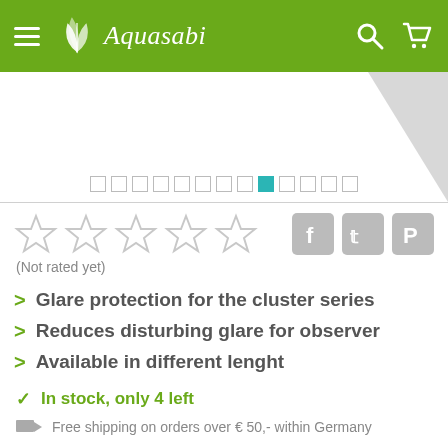Aquasabi
[Figure (screenshot): Product image area with diagonal grey ribbon/badge in top-right corner and image carousel dot pagination showing 13 dots with the 9th dot highlighted in teal]
(Not rated yet)
Glare protection for the cluster series
Reduces disturbing glare for observer
Available in different lenght
In stock, only 4 left
Free shipping on orders over € 50,- within Germany